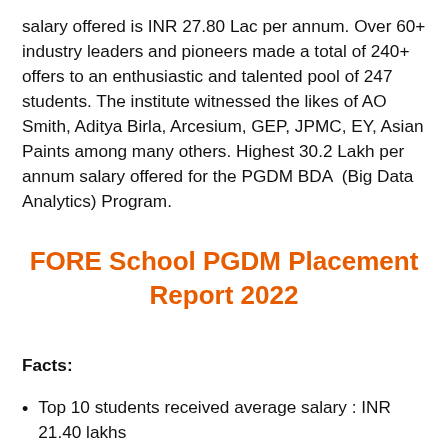salary offered is INR 27.80 Lac per annum. Over 60+ industry leaders and pioneers made a total of 240+ offers to an enthusiastic and talented pool of 247 students. The institute witnessed the likes of AO Smith, Aditya Birla, Arcesium, GEP, JPMC, EY, Asian Paints among many others. Highest 30.2 Lakh per annum salary offered for the PGDM BDA (Big Data Analytics) Program.
FORE School PGDM Placement Report 2022
Facts:
Top 10 students received average salary : INR 21.40 lakhs